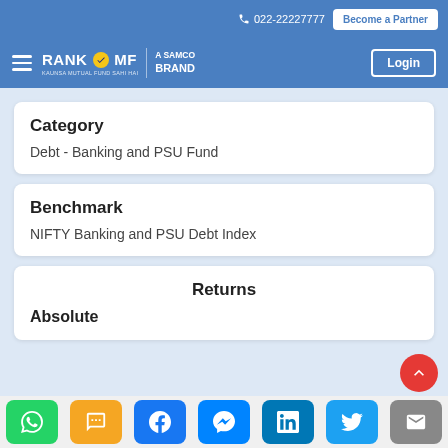022-22227777 | Become a Partner
RANK MF - A SAMCO BRAND | Login
Category
Debt - Banking and PSU Fund
Benchmark
NIFTY Banking and PSU Debt Index
Returns
Absolute